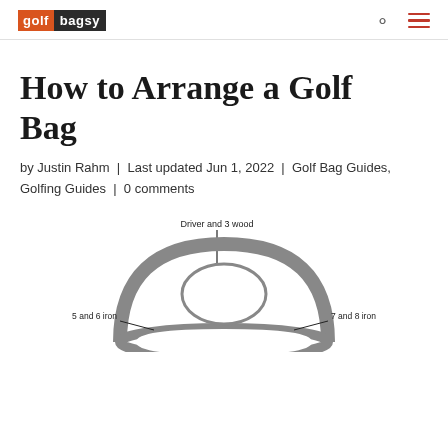golfbagsy
How to Arrange a Golf Bag
by Justin Rahm | Last updated Jun 1, 2022 | Golf Bag Guides, Golfing Guides | 0 comments
[Figure (illustration): Diagram of a golf bag top view showing compartment labels: 'Driver and 3 wood' at the top with a downward arrow, '5 and 6 iron' on the left, and '7 and 8 iron' on the right.]